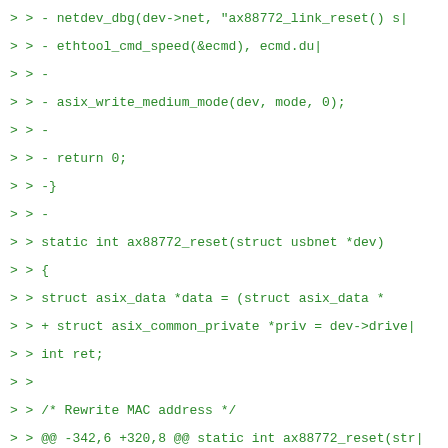> > -    netdev_dbg(dev->net, "ax88772_link_reset() s|
> > -                ethtool_cmd_speed(&ecmd), ecmd.du|
> > -
> > -    asix_write_medium_mode(dev, mode, 0);
> > -
> > -    return 0;
> > -}
> > -
> >    static int ax88772_reset(struct usbnet *dev)
> >    {
> >        struct asix_data *data = (struct asix_data *
> > +     struct asix_common_private *priv = dev->drive
> >        int ret;
> >
> >        /* Rewrite MAC address */
> > @@ -342,6 +320,8 @@ static int ax88772_reset(str|